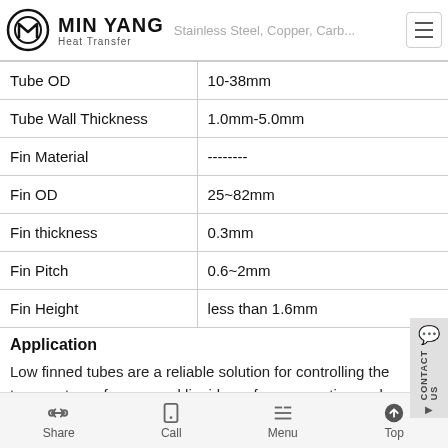Min Yang Heat Transfer | Stainless Steel, Copper, Carbon
| Property | Value |
| --- | --- |
| Tube OD | 10-38mm |
| Tube Wall Thickness | 1.0mm-5.0mm |
| Fin Material | -------- |
| Fin OD | 25~82mm |
| Fin thickness | 0.3mm |
| Fin Pitch | 0.6~2mm |
| Fin Height | less than 1.6mm |
Application
Low finned tubes are a reliable solution for controlling the temperature of gases and liquids, or for evaporating and
Share | Call | Menu | Top